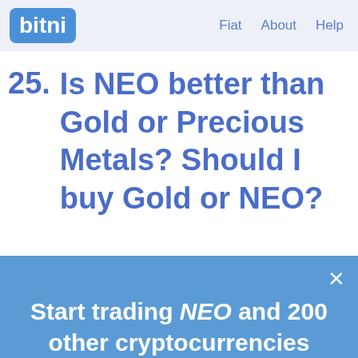bitni   Fiat   About   Help
25. Is NEO better than Gold or Precious Metals? Should I buy Gold or NEO?
Start trading NEO and 200 other cryptocurrencies here on bitni.com - no signup required!